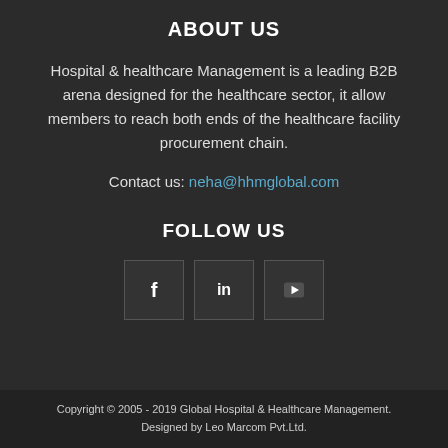ABOUT US
Hospital & healthcare Management is a leading B2B arena designed for the healthcare sector, it allow members to reach both ends of the healthcare facility procurement chain.
Contact us: neha@hhmglobal.com
FOLLOW US
[Figure (other): Three social media icon boxes: Facebook (f), LinkedIn (in), YouTube (play button)]
Copyright © 2005 - 2019 Global Hospital & Healthcare Management. Designed by Leo Marcom Pvt.Ltd.